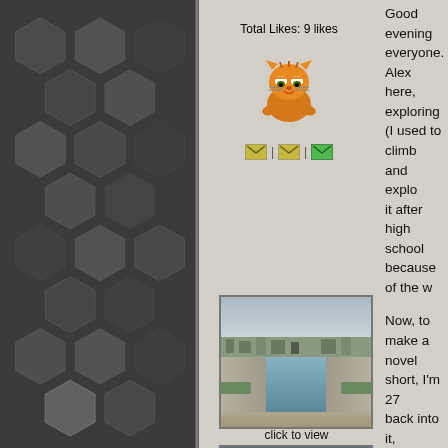[Figure (infographic): Dark gray sidebar with hexagonal pattern tiles arranged in a grid]
Total Likes: 9 likes
[Figure (illustration): Pixel art Garfield cat avatar icon]
[Figure (infographic): Three small icon buttons (envelope icons) separated by pipe characters]
Good evening everyone. Alex here, exploring (I used to climb and explo it after high school because of the w
Now, to make a novel short, I'm 27 back into it, especially with the pan than ever lol.
I'm very eager to meet people in the hoping others around me will too fo
A little background, I am pretty cap things don't trigger it, but I think it's
Anyway, checked out this dam by m wanting to go for a couple years, fir
[Figure (photo): Photo of a water channel/dam with concrete walls on both sides, leading to a cityscape in the background under cloudy sky]
click to view
[Figure (photo): Second photo partially visible, showing cloudy sky]